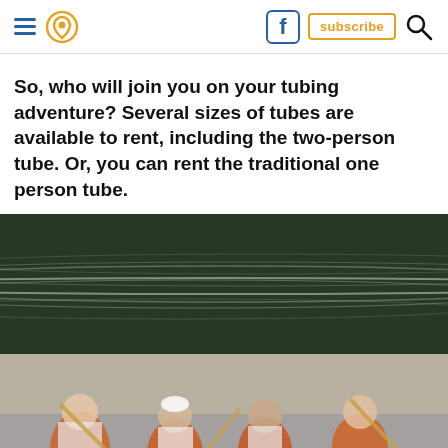Navigation header with hamburger menu, location pin icon, Facebook icon, subscribe button, and search icon
So, who will join you on your tubing adventure? Several sizes of tubes are available to rent, including the two-person tube. Or, you can rent the traditional one person tube.
[Figure (photo): Aerial or wide view of a river with dark green water and rippled surface]
[Figure (photo): People paddling a canoe wearing orange life jackets and using paddles]